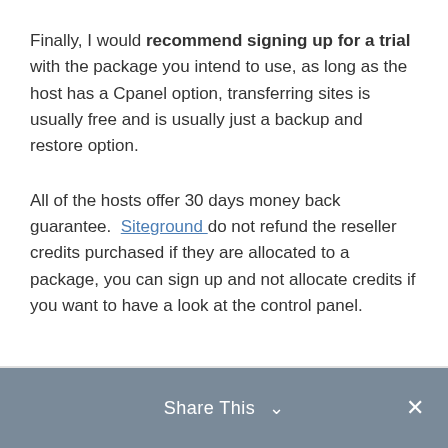Finally, I would recommend signing up for a trial with the package you intend to use, as long as the host has a Cpanel option, transferring sites is usually free and is usually just a backup and restore option.
All of the hosts offer 30 days money back guarantee. Siteground do not refund the reseller credits purchased if they are allocated to a package, you can sign up and not allocate credits if you want to have a look at the control panel.
Share This ∨ ✕